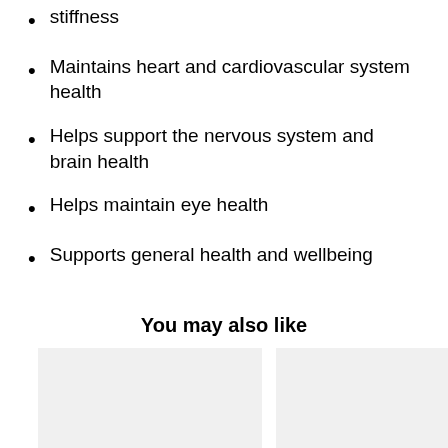stiffness
Maintains heart and cardiovascular system health
Helps support the nervous system and brain health
Helps maintain eye health
Supports general health and wellbeing
You may also like
[Figure (photo): Two product image placeholders shown as light gray rectangles side by side]